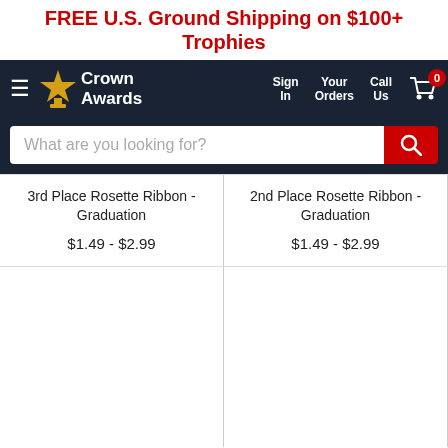FREE U.S. Ground Shipping on $100+ Trophies
[Figure (screenshot): Crown Awards navigation bar with logo, Sign In, Your Orders, Call Us, and cart icon with 0 badge]
What are you looking for?
3rd Place Rosette Ribbon - Graduation
$1.49 - $2.99
2nd Place Rosette Ribbon - Graduation
$1.49 - $2.99